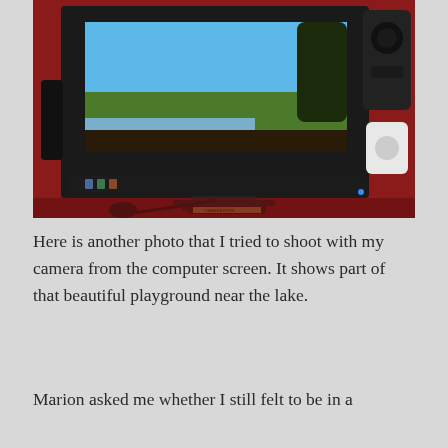[Figure (photo): A computer monitor displaying a scenic landscape photo of a lake and trees, with a speaker to the right, on a wooden desk with red-lit background.]
Here is another photo that I tried to shoot with my camera from the computer screen. It shows part of that beautiful playground near the lake.
Marion asked me whether I still felt to be in a